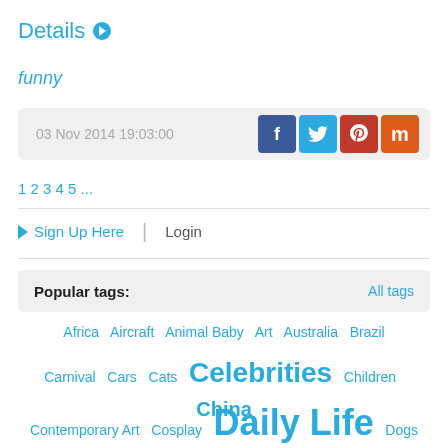Details ▶
funny
03 Nov 2014 19:03:00
1 2 3 4 5 ...
➡ Sign Up Here  |  Login
Popular tags:   All tags
Africa  Aircraft  Animal Baby  Art  Australia  Brazil
Carnival  Cars  Cats  Celebrities  Children  China
Contemporary Art  Cosplay  Daily Life  Dogs